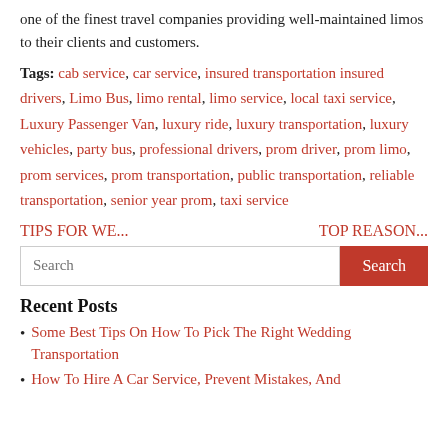one of the finest travel companies providing well-maintained limos to their clients and customers.
Tags: cab service, car service, insured transportation, insured drivers, Limo Bus, limo rental, limo service, local taxi service, Luxury Passenger Van, luxury ride, luxury transportation, luxury vehicles, party bus, professional drivers, prom driver, prom limo, prom services, prom transportation, public transportation, reliable transportation, senior year prom, taxi service
TIPS FOR WE...    TOP REASON...
Search
Recent Posts
Some Best Tips On How To Pick The Right Wedding Transportation
How To Hire A Car Service, Prevent Mistakes, And...